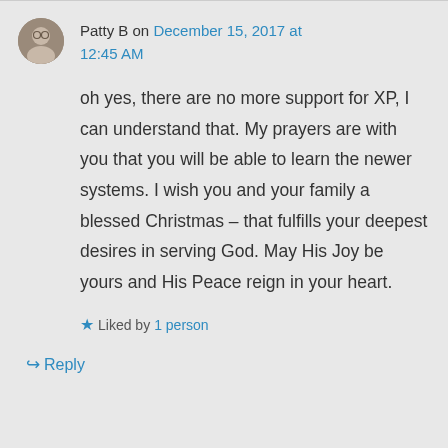Patty B on December 15, 2017 at 12:45 AM
oh yes, there are no more support for XP, I can understand that. My prayers are with you that you will be able to learn the newer systems. I wish you and your family a blessed Christmas – that fulfills your deepest desires in serving God. May His Joy be yours and His Peace reign in your heart.
★ Liked by 1 person
↳ Reply